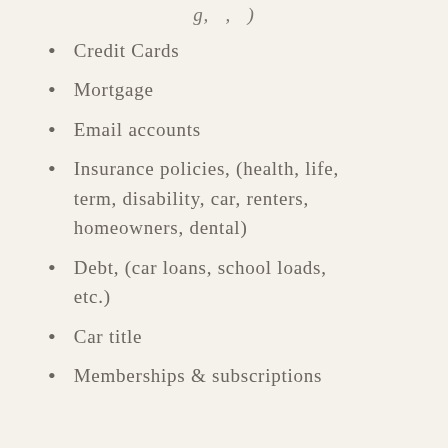g, ,
Credit Cards
Mortgage
Email accounts
Insurance policies, (health, life, term, disability, car, renters, homeowners, dental)
Debt, (car loans, school loads, etc.)
Car title
Memberships & subscriptions